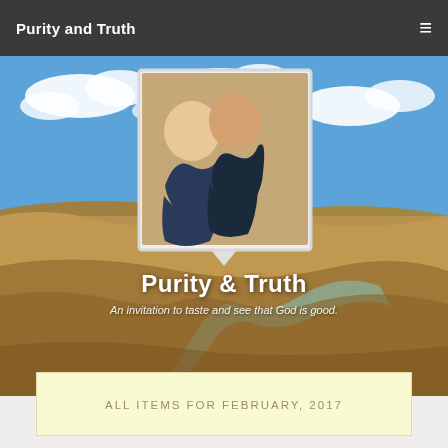Purity and Truth
[Figure (photo): Website screenshot showing 'Purity and Truth' blog header with a landscape background (river winding through badlands under blue sky), a framed couple photo in the center, the site title 'Purity & Truth' and subtitle 'An invitation to taste and see that God is good.' overlaid on the image, plus a yellow archive box reading 'ALL ITEMS FOR FEBRUARY, 2017']
Purity & Truth
An invitation to taste and see that God is good.
ALL ITEMS FOR FEBRUARY, 2017